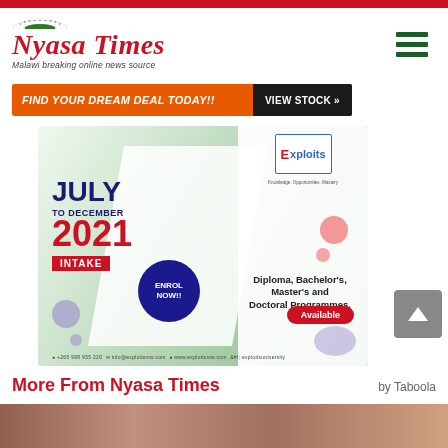Nyasa Times - Malawi breaking online news source
[Figure (infographic): Advertisement banner: FIND YOUR DREAM DEAL TODAY!! | VIEW STOCK »]
[Figure (infographic): Exploits University advertisement: JULY TO DECEMBER 2021 INTAKE - ENROL NOW!! Diploma, Bachelor's, Master's and Doctoral Programmes. Available. Contact: +265 998 955 220, info@exploitsmw.com, www.exploitsmw.com, exploitsuniversity]
More From Nyasa Times
by Taboola
[Figure (photo): Bottom image strip showing partial photo]